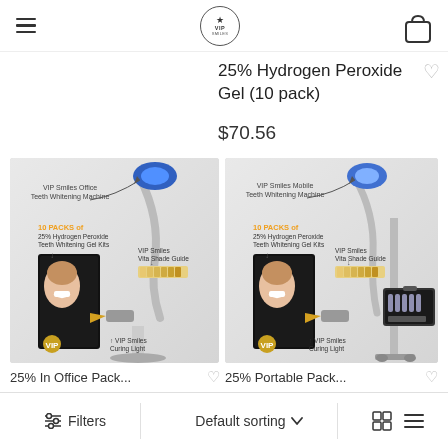VIP [logo] [hamburger menu] [shopping bag]
25% Hydrogen Peroxide Gel (10 pack)
$70.56
[Figure (photo): Product photo showing VIP Smiles Office Teeth Whitening Machine with 10 packs of 25% Hydrogen Peroxide Teeth Whitening Gel Kits, VIP Smiles Vita Shade Guide, and VIP Smiles Curing Light]
[Figure (photo): Product photo showing VIP Smiles Mobile Teeth Whitening Machine with 10 packs of 25% Hydrogen Peroxide Teeth Whitening Gel Kits, VIP Smiles Vita Shade Guide, VIP Smiles Curing Light, and a portable case]
25% In Office Pack...
25% Portable Pack...
Filters   Default sorting   [grid view] [list view]